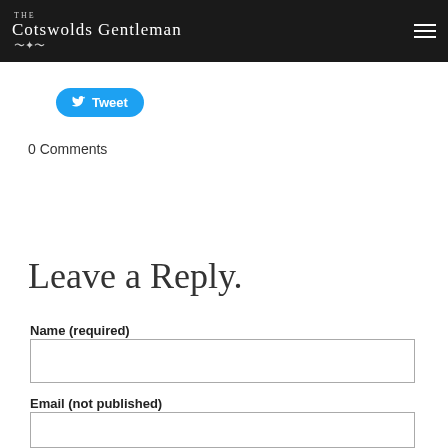THE COTSWOLDS GENTLEMAN
[Figure (other): Tweet button with Twitter bird icon]
0 Comments
Leave a Reply.
Name (required)
Email (not published)